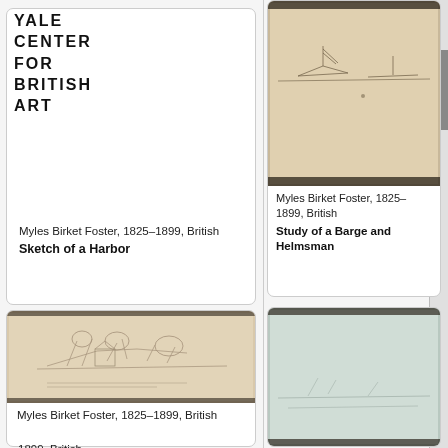YALE CENTER FOR BRITISH ART
<< YCBA HOME
Myles Birket Foster, 1825–1899, British
Sketch of a Harbor
[Figure (photo): Photograph of a sketch of a harbor scene in a sketchbook, pencil on paper, beige/tan colored page]
Myles Birket Foster, 1825–1899, British
Study of a Barge and Helmsman
[Figure (photo): Photograph of a pencil sketch showing a building or structure with trees, in a sketchbook]
Myles Birket Foster, 1825–1899, British
[Figure (photo): Partial view of another sketch in a sketchbook, light blue/grey toned paper]